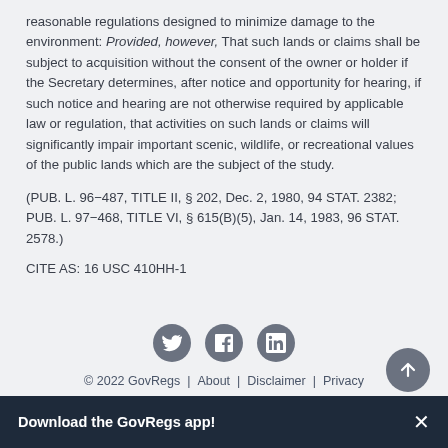reasonable regulations designed to minimize damage to the environment: Provided, however, That such lands or claims shall be subject to acquisition without the consent of the owner or holder if the Secretary determines, after notice and opportunity for hearing, if such notice and hearing are not otherwise required by applicable law or regulation, that activities on such lands or claims will significantly impair important scenic, wildlife, or recreational values of the public lands which are the subject of the study.
(PUB. L. 96-487, TITLE II, § 202, Dec. 2, 1980, 94 STAT. 2382; PUB. L. 97-468, TITLE VI, § 615(B)(5), Jan. 14, 1983, 96 STAT. 2578.)
CITE AS: 16 USC 410HH-1
[Figure (other): Social media icons: Twitter, Facebook, LinkedIn]
© 2022 GovRegs | About | Disclaimer | Privacy
Download the GovRegs app!